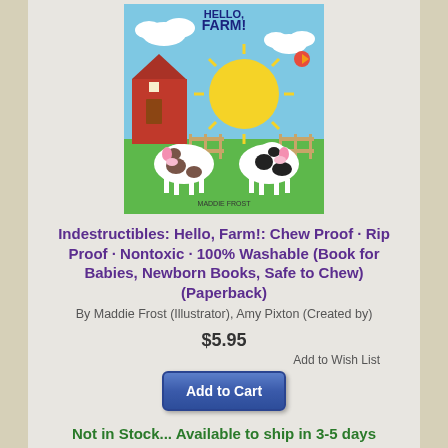[Figure (illustration): Book cover of Indestructibles: Hello, Farm! showing two cartoon cows on a farm with barn, sun, and bird]
Indestructibles: Hello, Farm!: Chew Proof · Rip Proof · Nontoxic · 100% Washable (Book for Babies, Newborn Books, Safe to Chew) (Paperback)
By Maddie Frost (Illustrator), Amy Pixton (Created by)
$5.95
Add to Wish List
Add to Cart
Not in Stock... Available to ship in 3-5 days
[Figure (illustration): Partial view of a second book cover - Baby Let's Eat with fruit imagery]